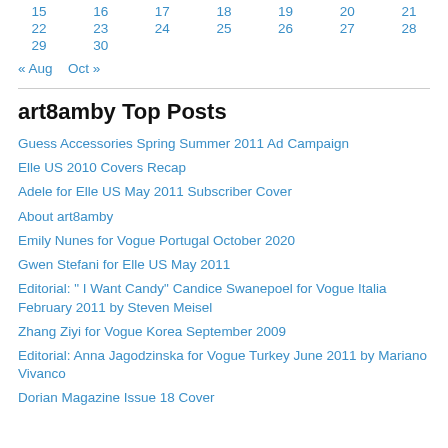| 15 | 16 | 17 | 18 | 19 | 20 | 21 |
| 22 | 23 | 24 | 25 | 26 | 27 | 28 |
| 29 | 30 |  |  |  |  |  |
« Aug   Oct »
art8amby Top Posts
Guess Accessories Spring Summer 2011 Ad Campaign
Elle US 2010 Covers Recap
Adele for Elle US May 2011 Subscriber Cover
About art8amby
Emily Nunes for Vogue Portugal October 2020
Gwen Stefani for Elle US May 2011
Editorial: " I Want Candy" Candice Swanepoel for Vogue Italia February 2011 by Steven Meisel
Zhang Ziyi for Vogue Korea September 2009
Editorial: Anna Jagodzinska for Vogue Turkey June 2011 by Mariano Vivanco
Dorian Magazine Issue 18 Cover